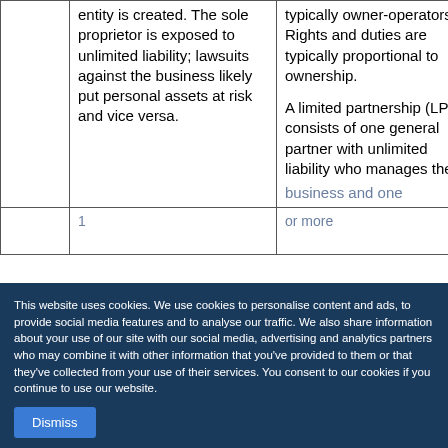|  |  |  |  |
| --- | --- | --- | --- |
|  | entity is created. The sole proprietor is exposed to unlimited liability; lawsuits against the business likely put personal assets at risk and vice versa. | typically owner-operators. Rights and duties are typically proportional to ownership.

A limited partnership (LP) consists of one general partner with unlimited liability who manages the business and one... | to sole pro... and partne... |
|  | 1 | or more... | Most stat... unble ame... |
This website uses cookies. We use cookies to personalise content and ads, to provide social media features and to analyse our traffic. We also share information about your use of our site with our social media, advertising and analytics partners who may combine it with other information that you've provided to them or that they've collected from your use of their services. You consent to our cookies if you continue to use our website.